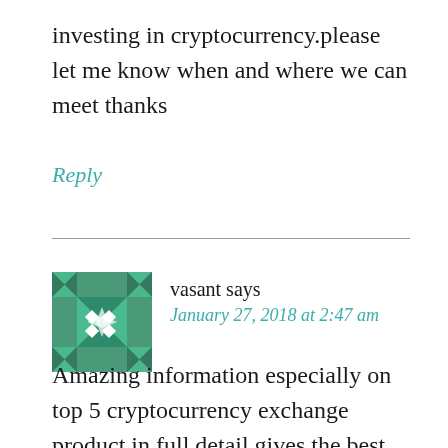investing in cryptocurrency.please let me know when and where we can meet thanks
Reply
[Figure (illustration): Green geometric quilt-pattern avatar icon for user vasant]
vasant says
January 27, 2018 at 2:47 am
Amazing information especially on top 5 cryptocurrency exchange product in full detail.gives the best knowledge on cryptocurrency exchange , cryptocurrency